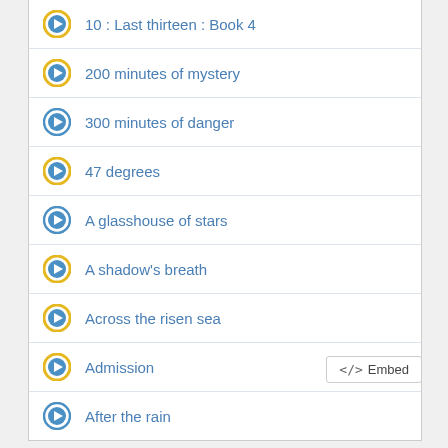10 : Last thirteen : Book 4
200 minutes of mystery
300 minutes of danger
47 degrees
A glasshouse of stars
A shadow's breath
Across the risen sea
Admission
After the rain
</> Embed